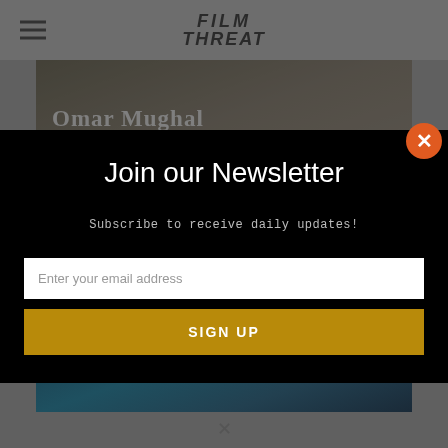[Figure (screenshot): Film Threat website header with hamburger menu icon on left and Film Threat logo in center, on grey background]
[Figure (photo): Background image showing 'Omar Mughal' text overlay on a dark brownish scene]
[Figure (screenshot): Newsletter signup modal overlay on black background with close button]
Join our Newsletter
Subscribe to receive daily updates!
Enter your email address
SIGN UP
[Figure (photo): Background image showing 'FILMFEST' text over a teal/dark winter scene]